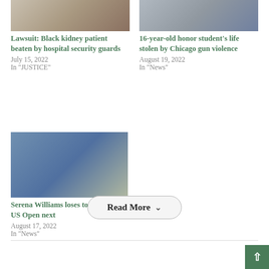[Figure (photo): Photo of Black kidney patient hospital scene]
Lawsuit: Black kidney patient beaten by hospital security guards
July 15, 2022
In "JUSTICE"
[Figure (photo): Photo related to 16-year-old honor student Chicago gun violence story]
16-year-old honor student's life stolen by Chicago gun violence
August 19, 2022
In "News"
[Figure (photo): Photo of Serena Williams and Raducanu shaking hands at the net after US Open match]
Serena Williams loses to Raducanu; US Open next
August 17, 2022
In "News"
Read More